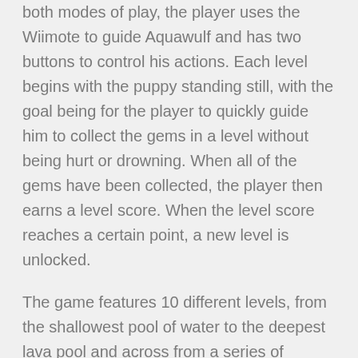both modes of play, the player uses the Wiimote to guide Aquawulf and has two buttons to control his actions. Each level begins with the puppy standing still, with the goal being for the player to quickly guide him to collect the gems in a level without being hurt or drowning. When all of the gems have been collected, the player then earns a level score. When the level score reaches a certain point, a new level is unlocked.
The game features 10 different levels, from the shallowest pool of water to the deepest lava pool and across from a series of treacherous waterfalls.
Plot
One day in the distant future, after humans have long since left Earth, their sun has begun to fail and the Earth is slowly being engulfed by the Sun's lava. Unaware of